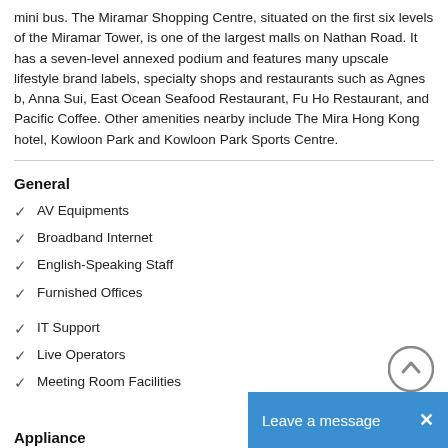mini bus. The Miramar Shopping Centre, situated on the first six levels of the Miramar Tower, is one of the largest malls on Nathan Road. It has a seven-level annexed podium and features many upscale lifestyle brand labels, specialty shops and restaurants such as Agnes b, Anna Sui, East Ocean Seafood Restaurant, Fu Ho Restaurant, and Pacific Coffee. Other amenities nearby include The Mira Hong Kong hotel, Kowloon Park and Kowloon Park Sports Centre.
General
AV Equipments
Broadband Internet
English-Speaking Staff
Furnished Offices
IT Support
Live Operators
Meeting Room Facilities
Appliance
Business Address Service